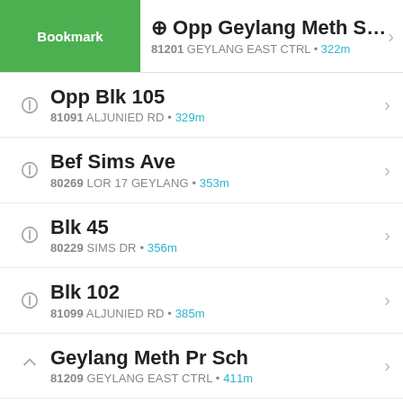Opp Geylang Meth Sec Sch
81201 GEYLANG EAST CTRL • 322m
Opp Blk 105
81091 ALJUNIED RD • 329m
Bef Sims Ave
80269 LOR 17 GEYLANG • 353m
Blk 45
80229 SIMS DR • 356m
Blk 102
81099 ALJUNIED RD • 385m
Geylang Meth Pr Sch
81209 GEYLANG EAST CTRL • 411m